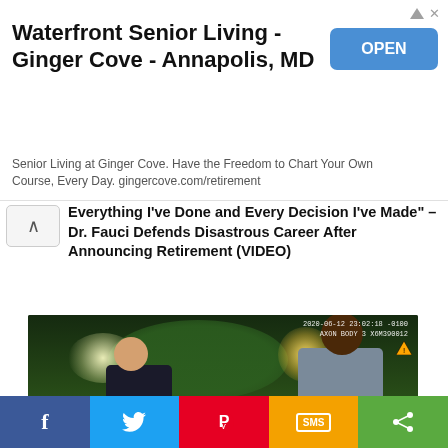[Figure (screenshot): Advertisement banner for Waterfront Senior Living - Ginger Cove - Annapolis, MD with an OPEN button]
Waterfront Senior Living - Ginger Cove - Annapolis, MD
Senior Living at Ginger Cove. Have the Freedom to Chart Your Own Course, Every Day. gingercove.com/retirement
Everything I've Done and Every Decision I've Made" – Dr. Fauci Defends Disastrous Career After Announcing Retirement (VIDEO)
[Figure (photo): Police body camera footage showing two men - a uniformed police officer on the left and a civilian on the right - standing outside at night. Timestamp reads 2020-06-12 23:02:18 -0100 AXON BODY 3 X6M390012]
DEVELOPING: Charges Dropped For Two Atlanta Police Officers Involved in Fatal
[Figure (infographic): Social media share bar with Facebook, Twitter, Pinterest, SMS, and Share buttons]